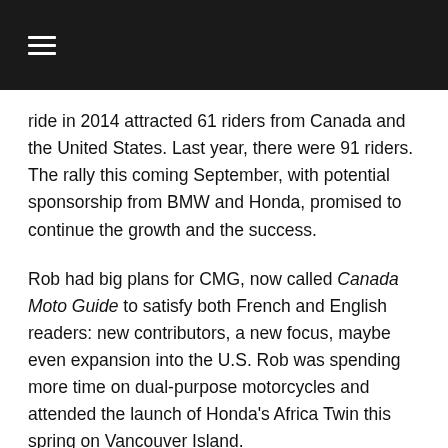≡
ride in 2014 attracted 61 riders from Canada and the United States. Last year, there were 91 riders. The rally this coming September, with potential sponsorship from BMW and Honda, promised to continue the growth and the success.
Rob had big plans for CMG, now called Canada Moto Guide to satisfy both French and English readers: new contributors, a new focus, maybe even expansion into the U.S. Rob was spending more time on dual-purpose motorcycles and attended the launch of Honda's Africa Twin this spring on Vancouver Island.
And then, last week, he flew to Montreal, met his friend Jim Vernon, and the two of them loaded Jim's Honda CRF250 and a Husqvarna 701 test bike into Jim's van. They drove to the